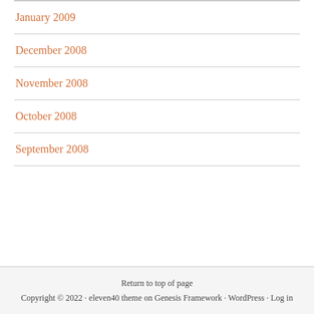January 2009
December 2008
November 2008
October 2008
September 2008
Return to top of page
Copyright © 2022 · eleven40 theme on Genesis Framework · WordPress · Log in